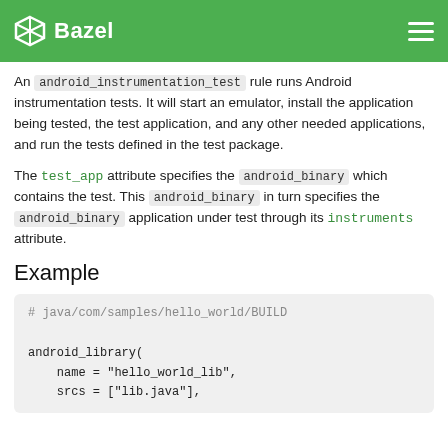Bazel
An android_instrumentation_test rule runs Android instrumentation tests. It will start an emulator, install the application being tested, the test application, and any other needed applications, and run the tests defined in the test package.
The test_app attribute specifies the android_binary which contains the test. This android_binary in turn specifies the android_binary application under test through its instruments attribute.
Example
# java/com/samples/hello_world/BUILD

android_library(
    name = "hello_world_lib",
    srcs = ["lib.java"],